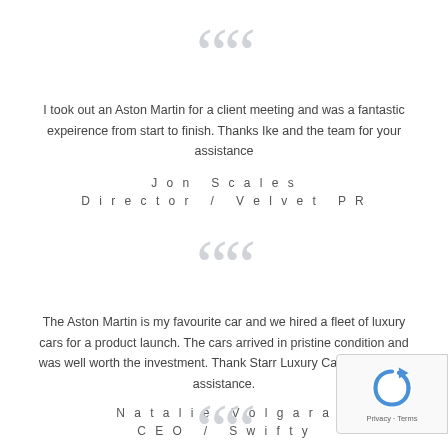““
I took out an Aston Martin for a client meeting and was a fantastic expeirence from start to finish. Thanks Ike and the team for your assistance
Jon Scales
Director / Velvet PR
““
The Aston Martin is my favourite car and we hired a fleet of luxury cars for a product launch. The cars arrived in pristine condition and was well worth the investment. Thank Starr Luxury Cars for all your assistance.
Natalie Volgara
CEO / Swifty
““